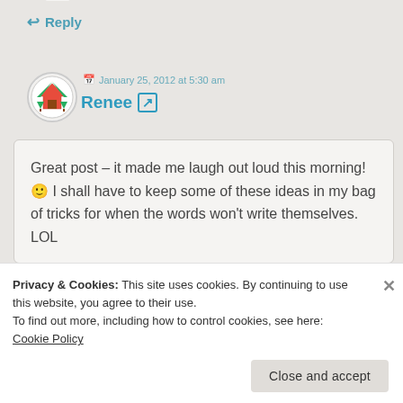↩ Reply
January 25, 2012 at 5:30 am
Renee ↗
Great post – it made me laugh out loud this morning! 🙂 I shall have to keep some of these ideas in my bag of tricks for when the words won't write themselves. LOL
Privacy & Cookies: This site uses cookies. By continuing to use this website, you agree to their use.
To find out more, including how to control cookies, see here: Cookie Policy
Close and accept